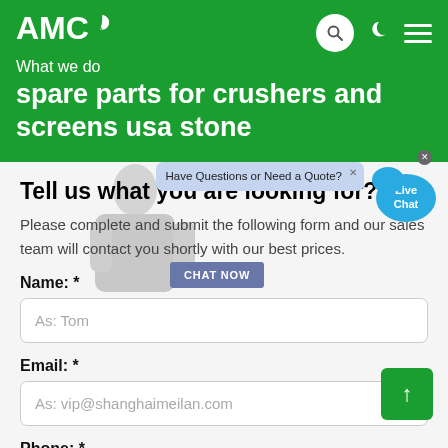AMC
What we do
spare parts for crushers and screens usa stone
Tell us what you are looking for?
Please complete and submit the following form and our sales team will contact you shortly with our best prices.
Name: *
As: Tom
Email: *
As: vip@shanghaimeilan.com
Phone: *